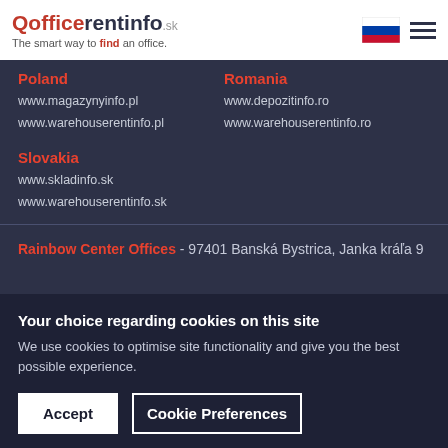officerentinfo.sk - The smart way to find an office.
Poland
www.magazynyinfo.pl
www.warehouserentinfo.pl
Romania
www.depozitinfo.ro
www.warehouserentinfo.ro
Slovakia
www.skladinfo.sk
www.warehouserentinfo.sk
Rainbow Center Offices - 97401 Banská Bystrica, Janka kráľa 9
Your choice regarding cookies on this site
We use cookies to optimise site functionality and give you the best possible experience.
Accept   Cookie Preferences